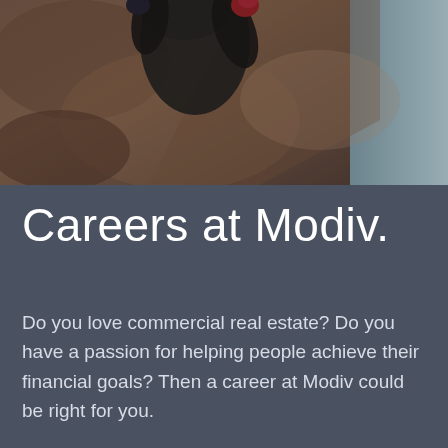[Figure (photo): Close-up photo of a person rock climbing or bouldering, wearing dark clothing and gloves, gripping onto a brown rocky surface. The background shows a light blue-grey sky.]
Careers at Modiv.
Do you love commercial real estate? Do you have a passion for helping people achieve their financial goals? Then a career at Modiv could be right for you.